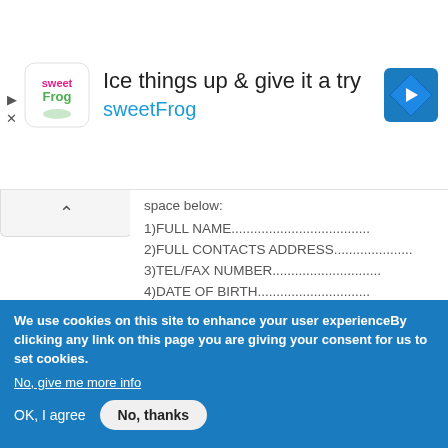[Figure (screenshot): Advertisement banner for sweetFrog with logo, headline text 'Ice things up & give it a try', brand name 'sweetFrog', and navigation icon]
space below:
1)FULL NAME.....................................
2)FULL CONTACTS ADDRESS.......................
3)TEL/FAX NUMBER...............................
4)DATE OF BIRTH................................
5)OCCUPATION...................................
6)BANK ACCOUNT NUMBER OR INDICATE ANOTHER OPTION HOW YOU WANT YOUR PRIZE TO BE TRANSFER ...........
We use cookies on this site to enhance your user experienceBy clicking any link on this page you are giving your consent for us to set cookies.
No, give me more info
OK, I agree   No, thanks